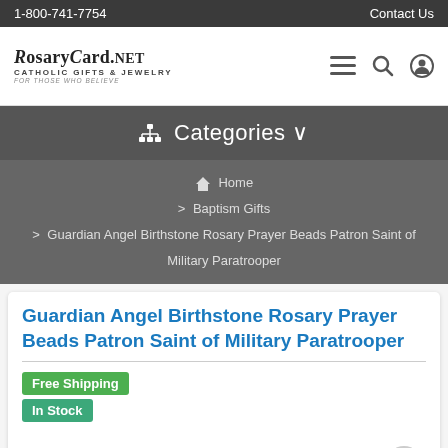1-800-741-7754 | Contact Us
[Figure (logo): RosaryCard.net Catholic Gifts & Jewelry logo with tagline For Those Who Believe]
Categories
Home > Baptism Gifts > Guardian Angel Birthstone Rosary Prayer Beads Patron Saint of Military Paratrooper
Guardian Angel Birthstone Rosary Prayer Beads Patron Saint of Military Paratrooper
Free Shipping
In Stock
[Figure (photo): Product image showing pink rosary prayer beads]